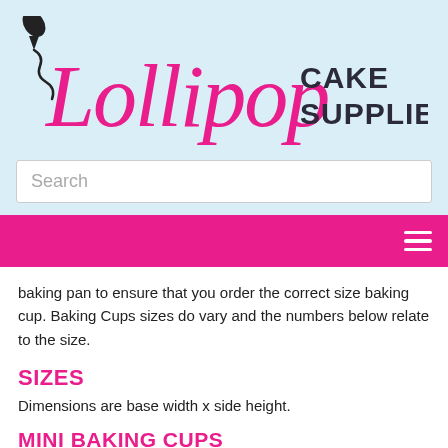[Figure (logo): Lollipop Cake Supplies logo with pink cursive 'Lollipop' text and dark 'CAKE SUPPLIES' text, with a piping bag icon]
Search
baking pan to ensure that you order the correct size baking cup. Baking Cups sizes do vary and the numbers below relate to the size.
SIZES
Dimensions are base width x side height.
MINI BAKING CUPS